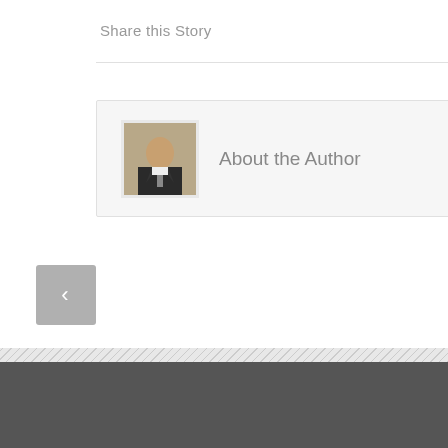Share this Story
[Figure (photo): Author portrait photo - person in dark suit and tie]
About the Author
[Figure (other): Left navigation arrow button (chevron left, grey square)]
Archives | Categories | August 2022 | Flotation Tank News
Archives
Categories
August 2022
Flotation Tank News